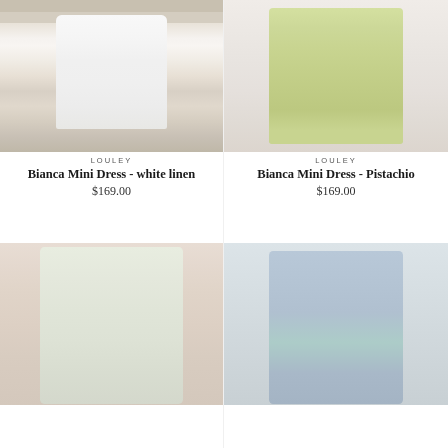[Figure (photo): Model wearing white linen mini dress standing against stone wall]
LOULEY
Bianca Mini Dress - white linen
$169.00
[Figure (photo): Model wearing pistachio green mini dress with tie waist]
LOULEY
Bianca Mini Dress - Pistachio
$169.00
[Figure (photo): Model wearing floral print midi dress against cream backdrop]
[Figure (photo): Model wearing blue floral short sleeve v-neck dress]